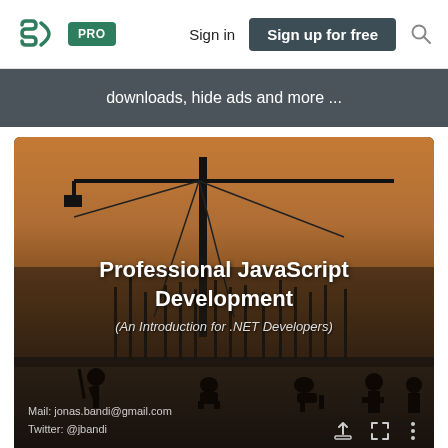SpeakerDeck — PRO  Sign in  Sign up for free
downloads, hide ads and more ...
[Figure (screenshot): Slide thumbnail for 'Professional JavaScript Development (An Introduction for .NET Developers)' — construction site silhouette background with crane and workers at sunset, white title text overlay, and presenter contact info at bottom.]
Professional JavaScript Development (An Introduction for .NET Developers)
Mail: jonas.bandi@gmail.com
Twitter: @jbandi